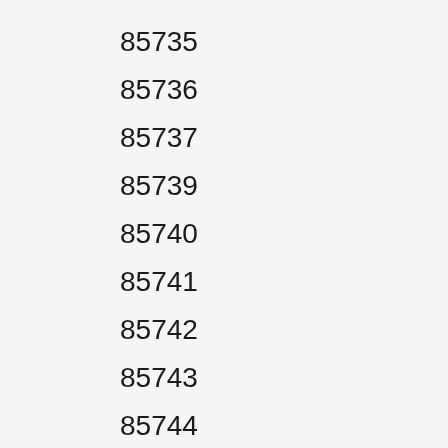85735
85736
85737
85739
85740
85741
85742
85743
85744